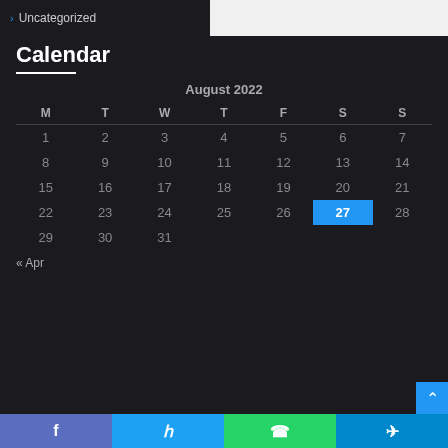> Uncategorized
Calendar
| M | T | W | T | F | S | S |
| --- | --- | --- | --- | --- | --- | --- |
| 1 | 2 | 3 | 4 | 5 | 6 | 7 |
| 8 | 9 | 10 | 11 | 12 | 13 | 14 |
| 15 | 16 | 17 | 18 | 19 | 20 | 21 |
| 22 | 23 | 24 | 25 | 26 | 27 | 28 |
| 29 | 30 | 31 |  |  |  |  |
« Apr
[Figure (other): Social share bar with Facebook, Twitter, WhatsApp, Telegram buttons]